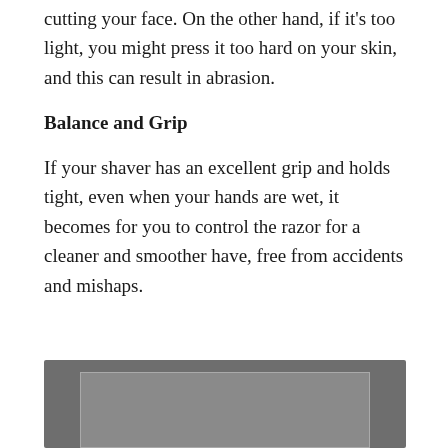cutting your face. On the other hand, if it's too light, you might press it too hard on your skin, and this can result in abrasion.
Balance and Grip
If your shaver has an excellent grip and holds tight, even when your hands are wet, it becomes for you to control the razor for a cleaner and smoother have, free from accidents and mishaps.
[Figure (photo): Image placeholder showing a grey rectangle with a lighter inner rectangle border, representing a product or shaver image]